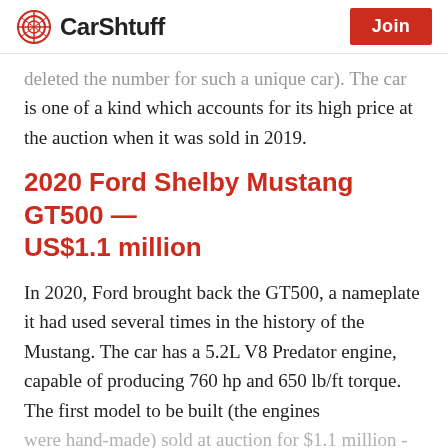CarShtuff | Join
…deleted the number for such a unique car). The car is one of a kind which accounts for its high price at the auction when it was sold in 2019.
2020 Ford Shelby Mustang GT500 — US$1.1 million
In 2020, Ford brought back the GT500, a nameplate it had used several times in the history of the Mustang. The car has a 5.2L V8 Predator engine, capable of producing 760 hp and 650 lb/ft torque. The first model to be built (the engines were hand-made) sold at auction for $1.1 million - with the proceeds being donated to charity.